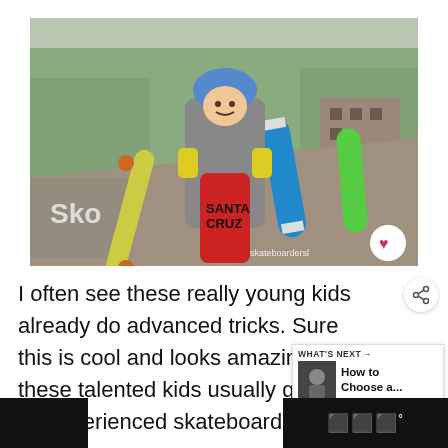[Figure (photo): Young child wearing a blue helmet and arm guards, holding a Santa Cruz skateboard, standing at a skate park ramp with multiple skateboards (colorful longboard, blue board, green board) propped around them. Trees and buildings visible in background. Watermark reads 'skateboardersl'.]
I often see these really young kids already do advanced tricks. Sure this is cool and looks amazing, but these talented kids usually guided by experienced skateboarders.
[Figure (infographic): WHAT'S NEXT widget showing a thumbnail and text 'How to Choose a...']